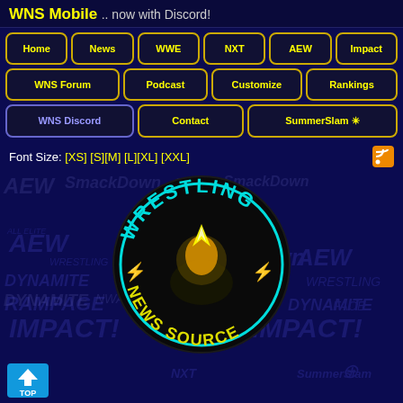WNS Mobile .. now with Discord!
Home
News
WWE
NXT
AEW
Impact
WNS Forum
Podcast
Customize
Rankings
WNS Discord
Contact
SummerSlam ✳
Font Size: [XS] [S][M] [L][XL] [XXL]
[Figure (logo): Wrestling News Source circular logo with teal/cyan text on black background, lightning bolt icons, figure at keyboard]